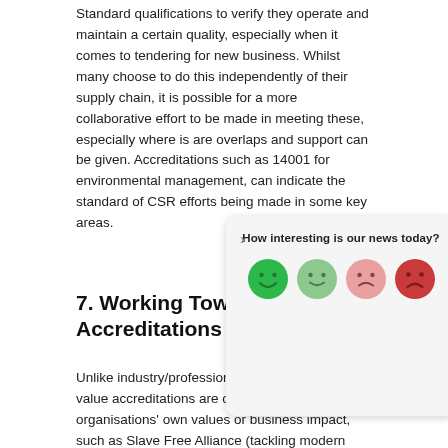Standard qualifications to verify they operate and maintain a certain quality, especially when it comes to tendering for new business. Whilst many choose to do this independently of their supply chain, it is possible for a more collaborative effort to be made in meeting these, especially where is are overlaps and support can be given. Accreditations such as 14001 for environmental management, can indicate the standard of CSR efforts being made in some key areas.
[Figure (infographic): A feedback widget with the question 'How interesting is our news today?' and four emoji faces ranging from very happy (dark green) to very sad (dark red/pink).]
7. Working Towards Accreditations
Unlike industry/professional accreditations, social value accreditations are often driven by an organisations' own values or business impact, such as Slave Free Alliance (tackling modern slavery) or BCorp (building sustainable economies). Organisations could request their supply chain have such accreditations before onboarding, as a way of increasing the standards of those around them in line with what is most important to their own values. These accreditations are an impactful opportunity to upskill a team, improve standards, raise